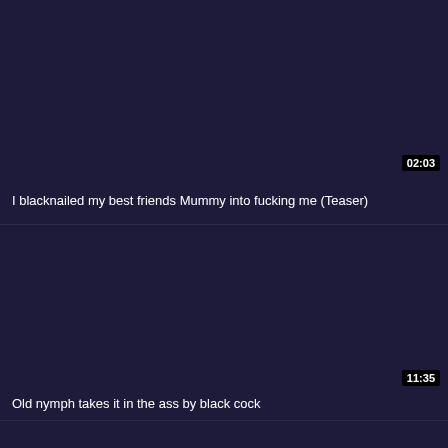[Figure (screenshot): Video thumbnail placeholder - dark navy background for first video]
02:03
I blacknailed my best friends Mummy into fucking me (Teaser)
[Figure (screenshot): Video thumbnail placeholder - dark navy background for second video]
11:35
Old nymph takes it in the ass by black cock